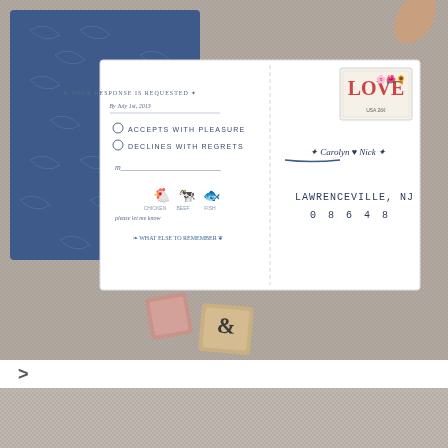[Figure (photo): Top-down flat lay photo on a woven gray/beige textured surface showing: a blue floral-patterned envelope/folder in the upper left, a white RSVP postcard with handwritten-style text reading 'YOUR RESPONSE IS REQUESTED BY JULY 1ST, 2013', checkboxes for 'ACCEPTS WITH PLEASURE' and 'DECLINES WITH REGRETS', meal choice icons (chicken, beef, fish), address side showing 'Carolyn & Nick' and 'LAWRENCEVILLE, NJ 08648', a colorful LOVE postage stamp, and two wooden rubber stamp blocks in the lower center area, plus a finger/hand visible at top right.]
>
[Figure (photo): Partial view of the same woven gray/beige textured fabric surface, cropped at the bottom of the page.]